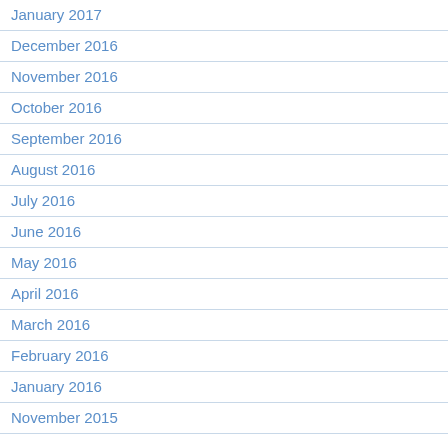January 2017
December 2016
November 2016
October 2016
September 2016
August 2016
July 2016
June 2016
May 2016
April 2016
March 2016
February 2016
January 2016
November 2015